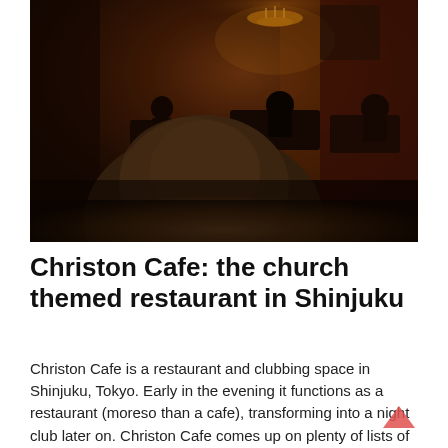[Figure (photo): Dark interior of Christon Cafe restaurant in Shinjuku, Tokyo. Dimly lit with warm amber/red lighting, showing tables, seated patrons, decorative curtains, a chandelier, and ornate church-like decor. In the foreground is a large knitted or woven rounded object (possibly a hat or decorative item).]
Christon Cafe: the church themed restaurant in Shinjuku
Christon Cafe is a restaurant and clubbing space in Shinjuku, Tokyo. Early in the evening it functions as a restaurant (moreso than a cafe), transforming into a night club later on. Christon Cafe comes up on plenty of lists of weird themed restaurants, so we decided to check it out.